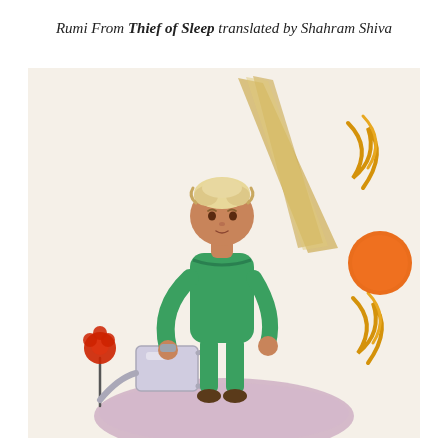Rumi From Thief of Sleep translated by Shahram Shiva
[Figure (illustration): Illustration of the Little Prince character in green outfit standing on a small planet, holding a watering can near a red flower on the left, with a large diagonal feather/quill behind him and orange sun-like orb with golden flame wisps on the right. The background is cream/off-white.]